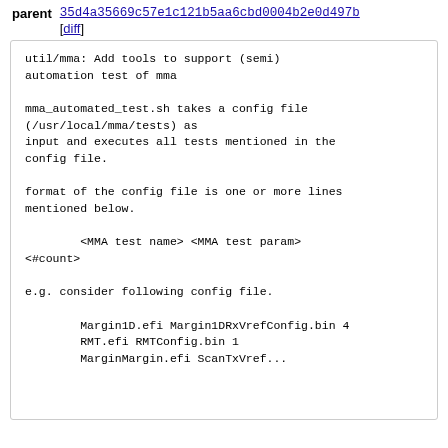parent 35d4a35669c57e1c121b5aa6cbd0004b2e0d497b [diff]
util/mma: Add tools to support (semi) automation test of mma

mma_automated_test.sh takes a config file (/usr/local/mma/tests) as input and executes all tests mentioned in the config file.

format of the config file is one or more lines mentioned below.

        <MMA test name> <MMA test param> <#count>

e.g. consider following config file.

        Margin1D.efi Margin1DRxVrefConfig.bin 4
        RMT.efi RMTConfig.bin 1
        MarginMargin.efi ScanTxVref...